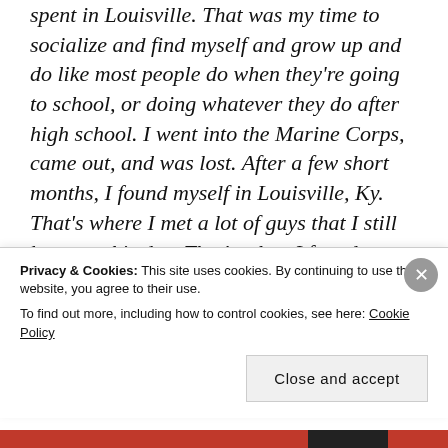spent in Louisville. That was my time to socialize and find myself and grow up and do like most people do when they're going to school, or doing whatever they do after high school. I went into the Marine Corps, came out, and was lost. After a few short months, I found myself in Louisville, Ky. That's where I met a lot of guys that I still know to this day. That's when I found out that I had this underlying talent of being a pro wrestler, a WWE Superstar. I
Privacy & Cookies: This site uses cookies. By continuing to use this website, you agree to their use.
To find out more, including how to control cookies, see here: Cookie Policy
Close and accept